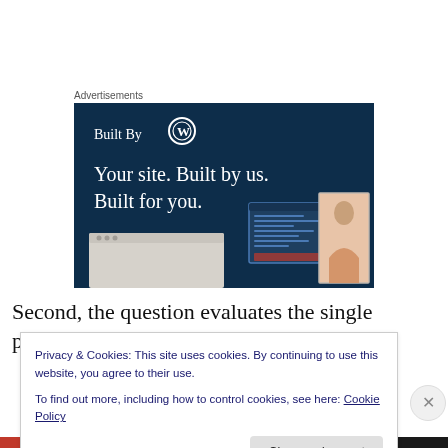Advertisements
[Figure (illustration): WordPress 'Built By' advertisement banner with dark navy background. Shows 'Built By' with WordPress logo, tagline 'Your site. Built by us. Built for you.' and website mockup images.]
Second, the question evaluates the single person on
Privacy & Cookies: This site uses cookies. By continuing to use this website, you agree to their use.
To find out more, including how to control cookies, see here: Cookie Policy
Close and accept